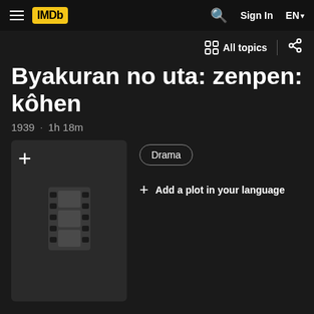IMDb navigation bar with hamburger menu, IMDb logo, search icon, Sign In, EN
All topics
Byakuran no uta: zenpen: kôhen
1939 · 1h 18m
[Figure (other): Movie poster placeholder with film strip icon]
Drama
+ Add a plot in your language
Rate  1,058,472 -23,014